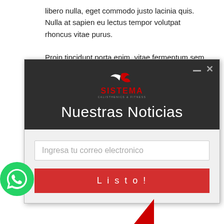libero nulla, eget commodo justo lacinia quis. Nulla at sapien eu lectus tempor volutpat rhoncus vitae purus.

Proin tincidunt porta enim, vitae fermentum sem
[Figure (screenshot): A modal popup dialog for a fitness website called SISTEMA (Calisthenics & Fitness). The modal has a dark header with the SISTEMA logo in red and white, a title 'Nuestras Noticias', and a light-colored body with an email input field placeholder 'Ingresa tu correo electronico' and a red 'Listo!' button. Window minimize and close controls are visible in the top right of the modal.]